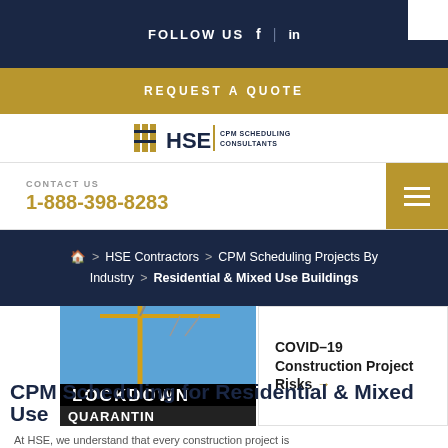FOLLOW US  f  in
REQUEST A QUOTE
[Figure (logo): HSE CPM Scheduling Consultants logo with building icon]
CONTACT US
1-888-398-8283
HSE Contractors > CPM Scheduling Projects By Industry > Residential & Mixed Use Buildings
[Figure (photo): Construction crane with lockdown quarantine sign banner]
COVID-19 Construction Project Risks →
CPM Scheduling for Residential & Mixed Use Buildings
At HSE, we understand that every construction project is